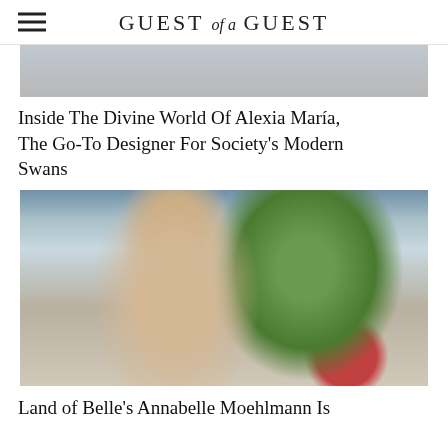GUEST of a GUEST
[Figure (photo): Top portion of a photo showing two people in a bright interior setting, partially cropped]
Inside The Divine World Of Alexia María, The Go-To Designer For Society's Modern Swans
[Figure (photo): Portrait photo of a young woman with long brown hair wearing a white outfit, sitting at an outdoor cafe or restaurant with palm fronds and a city street visible behind her]
Land of Belle's Annabelle Moehlmann Is